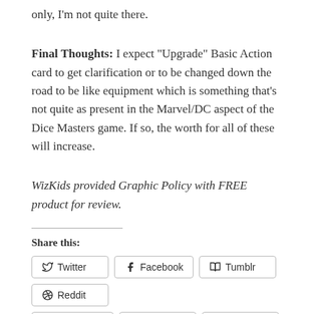only, I'm not quite there.
Final Thoughts: I expect “Upgrade” Basic Action card to get clarification or to be changed down the road to be like equipment which is something that’s not quite as present in the Marvel/DC aspect of the Dice Masters game. If so, the worth for all of these will increase.
WizKids provided Graphic Policy with FREE product for review.
Share this:
Twitter
Facebook
Tumblr
Reddit
WhatsApp
Pinterest
LinkedIn
Email